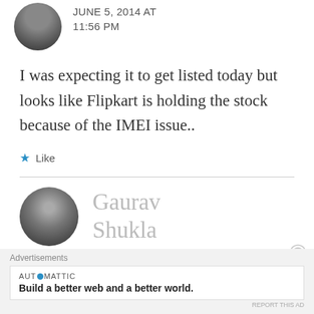[Figure (photo): Partial circular avatar photo of a person, cropped at top]
JUNE 5, 2014 AT 11:56 PM
I was expecting it to get listed today but looks like Flipkart is holding the stock because of the IMEI issue..
★ Like
[Figure (photo): Circular avatar photo of Gaurav Shukla, a man in dark clothing]
Gaurav Shukla
Advertisements
AUTOMATTIC
Build a better web and a better world.